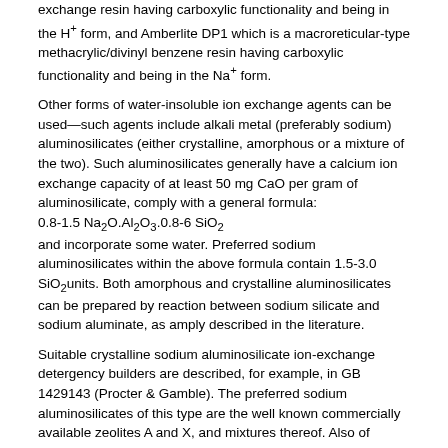exchange resin having carboxylic functionality and being in the H⁺ form, and Amberlite DP1 which is a macroreticular-type methacrylic/divinyl benzene resin having carboxylic functionality and being in the Na⁺ form.
Other forms of water-insoluble ion exchange agents can be used—such agents include alkali metal (preferably sodium) aluminosilicates (either crystalline, amorphous or a mixture of the two). Such aluminosilicates generally have a calcium ion exchange capacity of at least 50 mg CaO per gram of aluminosilicate, comply with a general formula:
0.8-1.5 Na₂O.Al₂O₃.0.8-6 SiO₂
and incorporate some water. Preferred sodium aluminosilicates within the above formula contain 1.5-3.0 SiO₂units. Both amorphous and crystalline aluminosilicates can be prepared by reaction between sodium silicate and sodium aluminate, as amply described in the literature.
Suitable crystalline sodium aluminosilicate ion-exchange detergency builders are described, for example, in GB 1429143 (Procter & Gamble). The preferred sodium aluminosilicates of this type are the well known commercially available zeolites A and X, and mixtures thereof. Also of interest is zeolite P described in EP 384070 (Unilever).
Another class of compounds for use in the composition of the present invention are the layered sodium silicate builders, such as are disclosed in U.S. Pat. No. 4,464,839 and U.S. Pat. No. 4,820,439 and also referred to in